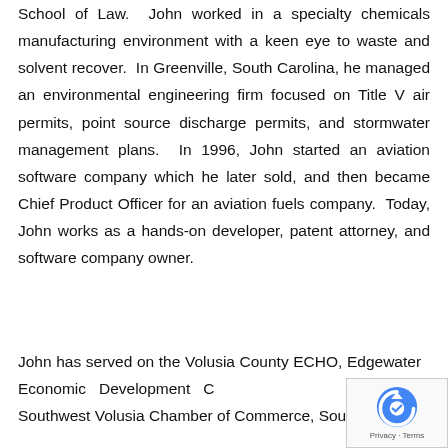School of Law.  John worked in a specialty chemicals manufacturing environment with a keen eye to waste and solvent recover.  In Greenville, South Carolina, he managed an environmental engineering firm focused on Title V air permits, point source discharge permits, and stormwater management plans.  In 1996, John started an aviation software company which he later sold, and then became Chief Product Officer for an aviation fuels company.  Today, John works as a hands-on developer, patent attorney, and software company owner.
John has served on the Volusia County ECHO, Edgewater Economic Development C, Southwest Volusia Chamber of Commerce, Southwest...